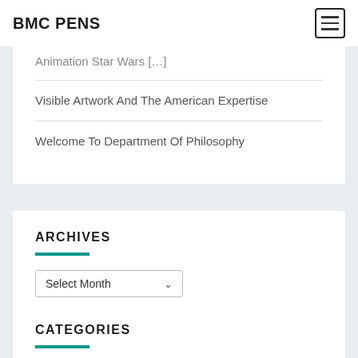BMC PENS
Animation Star Wars […]
Visible Artwork And The American Expertise
Welcome To Department Of Philosophy
ARCHIVES
Select Month
CATEGORIES
Select Cat...